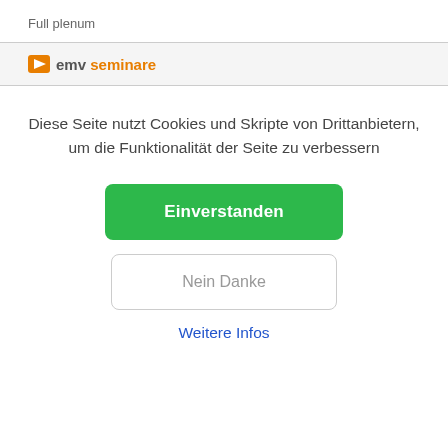Full plenum
[Figure (logo): emv seminare logo with orange arrow icon]
Diese Seite nutzt Cookies und Skripte von Drittanbietern, um die Funktionalität der Seite zu verbessern
Einverstanden
Nein Danke
Weitere Infos